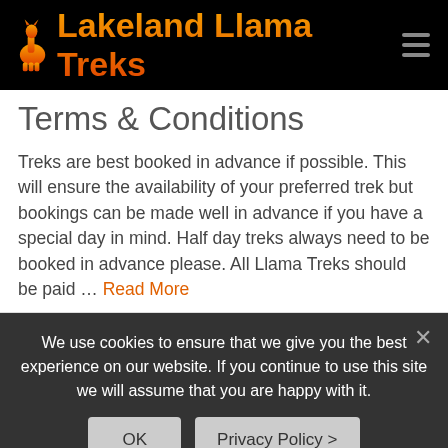Lakeland Llama Treks
Terms & Conditions
Treks are best booked in advance if possible. This will ensure the availability of your preferred trek but bookings can be made well in advance if you have a special day in mind. Half day treks always need to be booked in advance please. All Llama Treks should be paid … Read More
We use cookies to ensure that we give you the best experience on our website. If you continue to use this site we will assume that you are happy with it.